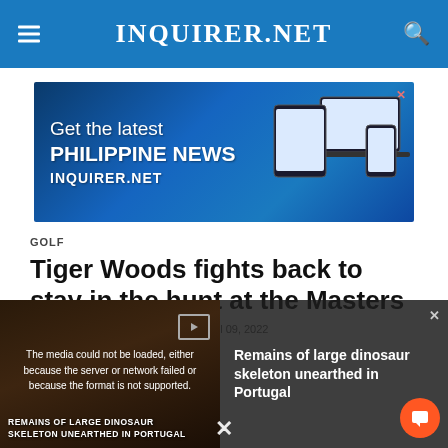INQUIRER.NET
[Figure (screenshot): Advertisement banner: Get the latest PHILIPPINE NEWS INQUIRER.NET with devices illustration on blue background]
GOLF
Tiger Woods fights back to stay in the hunt at the Masters
Agence France-Presse / 09:05 AM April 09, 2022
[Figure (screenshot): Video media overlay showing: The media could not be loaded, either because the server or network failed or because the format is not supported. Overlay shows 'REMAINS OF LARGE DINOSAUR SKELETON UNEARTHED IN PORTUGAL' with close button and chat button.]